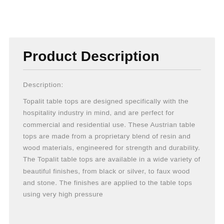Product Description
Description:
Topalit table tops are designed specifically with the hospitality industry in mind, and are perfect for commercial and residential use. These Austrian table tops are made from a proprietary blend of resin and wood materials, engineered for strength and durability. The Topalit table tops are available in a wide variety of beautiful finishes, from black or silver, to faux wood and stone. The finishes are applied to the table tops using very high pressure